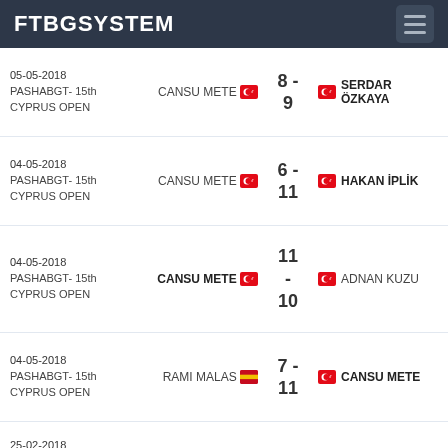FTBGSYSTEM
| Date/Event | Player 1 | Score | Player 2 |
| --- | --- | --- | --- |
| 05-05-2018 PASHABGT- 15th CYPRUS OPEN | CANSU METE 🇹🇷 | 8 - 9 | 🇹🇷 SERDAR ÖZKAYA |
| 04-05-2018 PASHABGT- 15th CYPRUS OPEN | CANSU METE 🇹🇷 | 6 - 11 | 🇹🇷 HAKAN İPLİK |
| 04-05-2018 PASHABGT- 15th CYPRUS OPEN | CANSU METE 🇹🇷 | 11 - 10 | 🇹🇷 ADNAN KUZU |
| 04-05-2018 PASHABGT- 15th CYPRUS OPEN | RAMI MALAS 🇪🇸 | 7 - 11 | 🇹🇷 CANSU METE |
| 25-02-2018 ISTAVDER 10th Anniversary Last Chance | CANSU METE 🇹🇷 | 1 - 5 | 🇩🇪 TILMAN SÖHNCHEN |